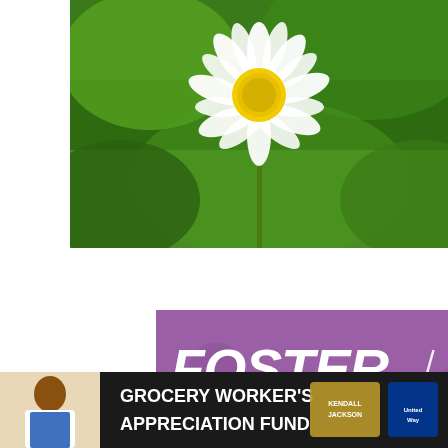[Figure (photo): Close-up photo of a white daisy flower with yellow center against a green background]
[Figure (infographic): Advertisement on purple background with text FOSTER ADOPT RESCUE, a photo of a tan/brown dog (pit bull type), white heart outlines, and decorative line accents]
[Figure (infographic): Advertisement bar reading GROCERY WORKER'S APPRECIATION FUND with Kendall-Jackson and United Way logos, person in apron smiling]